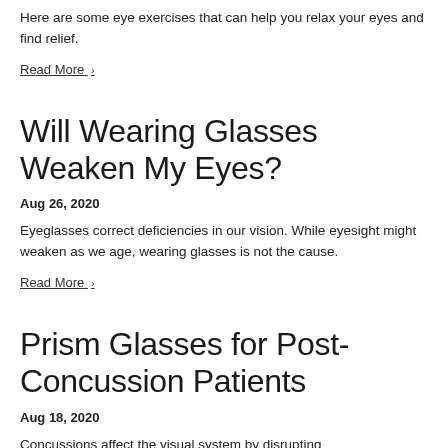Here are some eye exercises that can help you relax your eyes and find relief.
Read More ›
Will Wearing Glasses Weaken My Eyes?
Aug 26, 2020
Eyeglasses correct deficiencies in our vision. While eyesight might weaken as we age, wearing glasses is not the cause.
Read More ›
Prism Glasses for Post-Concussion Patients
Aug 18, 2020
Concussions affect the visual system by disrupting